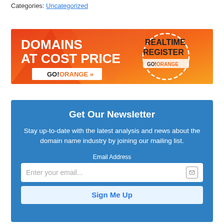Categories: Uncategorized
[Figure (illustration): Banner advertisement for GoOrange: 'Domains at Cost Price' on orange/red gradient background with 'REALTIME REGISTER GO!ORANGE' on the right side]
Get Our Newsletter
Stay up-to-date with the latest analysis and news about the domain name industry by joining our mailing list.
Email Address
Enter your email...
Sign Me Up